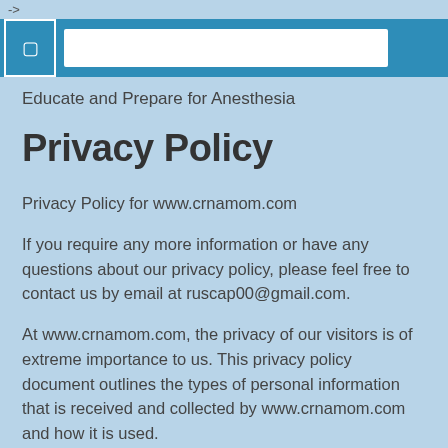->
[Figure (screenshot): Navigation bar with blue background, white checkbox icon on left, white search input field in center, blue button on right]
Educate and Prepare for Anesthesia
Privacy Policy
Privacy Policy for www.crnamom.com
If you require any more information or have any questions about our privacy policy, please feel free to contact us by email at ruscap00@gmail.com.
At www.crnamom.com, the privacy of our visitors is of extreme importance to us. This privacy policy document outlines the types of personal information that is received and collected by www.crnamom.com and how it is used.
Log Files
Like many other Web sites, www.crnamom.com makes use